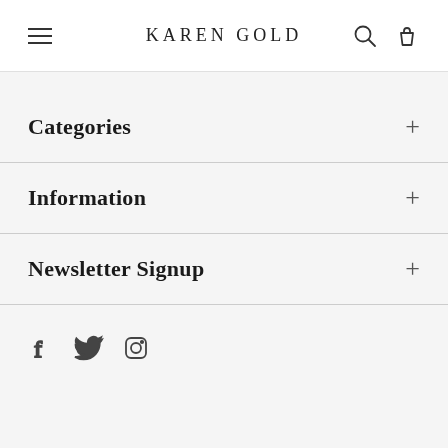KAREN GOLD
Categories
Information
Newsletter Signup
[Figure (other): Social media icons: Facebook, Twitter, Instagram]